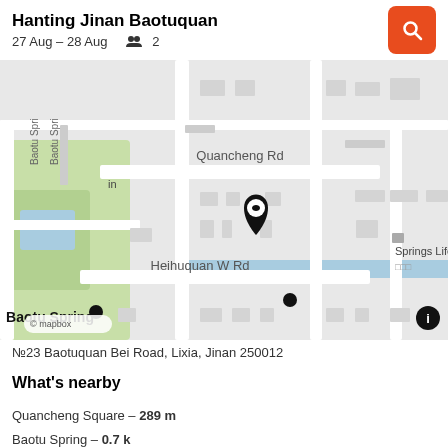Hanting Jinan Baotuquan
27 Aug – 28 Aug  👥 2
[Figure (map): Street map centered on Hanting Jinan Baotuquan hotel location, showing Quancheng Rd, Heihuquan W Rd, Baotu Spring park area, Shandong technology museum, Springs Life Museum. Map pin marker at hotel location. Mapbox attribution shown.]
№23 Baotuquan Bei Road, Lixia, Jinan 250012
What's nearby
Quancheng Square – 289 m
Baotu Spring – 0.7 k